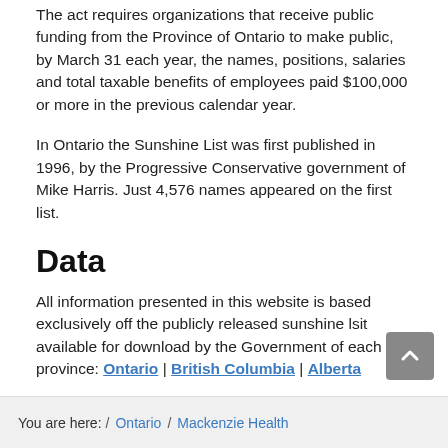The act requires organizations that receive public funding from the Province of Ontario to make public, by March 31 each year, the names, positions, salaries and total taxable benefits of employees paid $100,000 or more in the previous calendar year.
In Ontario the Sunshine List was first published in 1996, by the Progressive Conservative government of Mike Harris. Just 4,576 names appeared on the first list.
Data
All information presented in this website is based exclusively off the publicly released sunshine lsit available for download by the Government of each province: Ontario | British Columbia | Alberta
You are here: / Ontario / Mackenzie Health